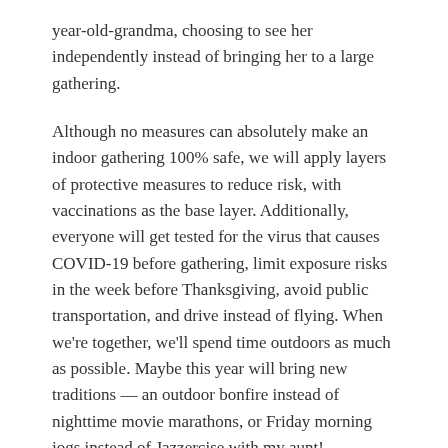year-old-grandma, choosing to see her independently instead of bringing her to a large gathering.
Although no measures can absolutely make an indoor gathering 100% safe, we will apply layers of protective measures to reduce risk, with vaccinations as the base layer. Additionally, everyone will get tested for the virus that causes COVID-19 before gathering, limit exposure risks in the week before Thanksgiving, avoid public transportation, and drive instead of flying. When we're together, we'll spend time outdoors as much as possible. Maybe this year will bring new traditions — an outdoor bonfire instead of nighttime movie marathons, or Friday morning jogs instead of Jazzercise with my aunt!
What advice can you offer people planning to gather in person to reduce the chance of getting or spreading the virus that causes COVID-19?